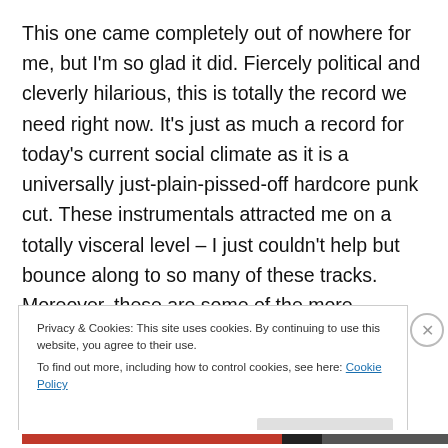This one came completely out of nowhere for me, but I'm so glad it did. Fiercely political and cleverly hilarious, this is totally the record we need right now. It's just as much a record for today's current social climate as it is a universally just-plain-pissed-off hardcore punk cut. These instrumentals attracted me on a totally visceral level – I just couldn't help but bounce along to so many of these tracks. Moreover, these are some of the more enthralling lyrics I've encountered all year. There weren't many other albums this year that were as much of a punch in the gut
Privacy & Cookies: This site uses cookies. By continuing to use this website, you agree to their use. To find out more, including how to control cookies, see here: Cookie Policy
Close and accept